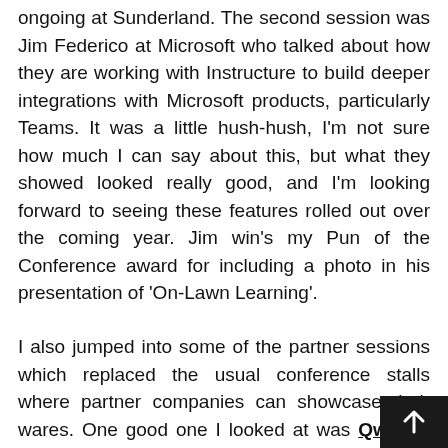ongoing at Sunderland. The second session was Jim Federico at Microsoft who talked about how they are working with Instructure to build deeper integrations with Microsoft products, particularly Teams. It was a little hush-hush, I'm not sure how much I can say about this, but what they showed looked really good, and I'm looking forward to seeing these features rolled out over the coming year. Jim win's my Pun of the Conference award for including a photo in his presentation of 'On-Lawn Learning'.
I also jumped into some of the partner sessions which replaced the usual conference stalls where partner companies can showcase their wares. One good one I looked at was Qwickly which allows tutors to make batch changes to things like announcements and adjusting assignme settings. The next one is over and dis...